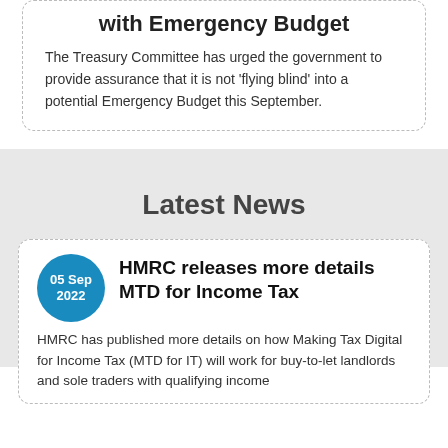with Emergency Budget
The Treasury Committee has urged the government to provide assurance that it is not 'flying blind' into a potential Emergency Budget this September.
Latest News
[Figure (other): Blue circle date badge showing 05 Sep 2022]
HMRC releases more details MTD for Income Tax
HMRC has published more details on how Making Tax Digital for Income Tax (MTD for IT) will work for buy-to-let landlords and sole traders with qualifying income